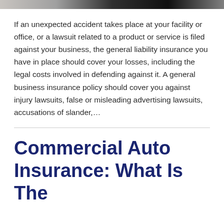[Figure (photo): Partial image strip at the top of the page, showing a cropped photograph]
If an unexpected accident takes place at your facility or office, or a lawsuit related to a product or service is filed against your business, the general liability insurance you have in place should cover your losses, including the legal costs involved in defending against it. A general business insurance policy should cover you against injury lawsuits, false or misleading advertising lawsuits, accusations of slander,...
Commercial Auto Insurance: What Is The